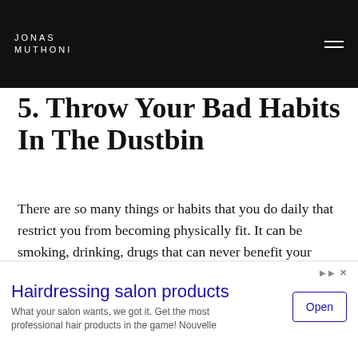JONAS MUTHONI
5. Throw Your Bad Habits In The Dustbin
There are so many things or habits that you do daily that restrict you from becoming physically fit. It can be smoking, drinking, drugs that can never benefit your health. It would be best if you cut them back completely. Some other habits that may not be considered as bad but can trouble you, in the long run, are too much sugar consumption, caffeine, junk food, etc. Everyone should consume
[Figure (infographic): Advertisement banner for Hairdressing salon products. Headline: 'Hairdressing salon products'. Body text: 'What your salon wants, we got it. Get the most professional hair products in the game! Nouvelle'. Button: 'Open'.]